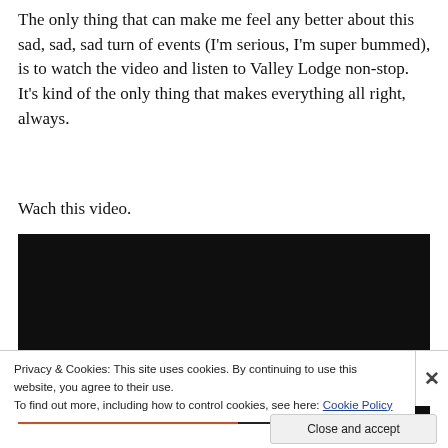The only thing that can make me feel any better about this sad, sad, sad turn of events (I'm serious, I'm super bummed), is to watch the video and listen to Valley Lodge non-stop.  It's kind of the only thing that makes everything all right, always.
Wach this video.
[Figure (screenshot): Embedded video player with dark/black background showing a partially visible message about the video being restricted and unavailable, with a YouTube-style progress bar at the bottom.]
Privacy & Cookies: This site uses cookies. By continuing to use this website, you agree to their use.
To find out more, including how to control cookies, see here: Cookie Policy
Close and accept